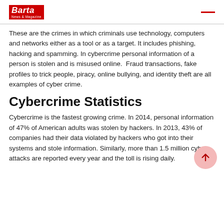Barta News & Magazine
These are the crimes in which criminals use technology, computers and networks either as a tool or as a target. It includes phishing, hacking and spamming. In cybercrime personal information of a person is stolen and is misused online. Fraud transactions, fake profiles to trick people, piracy, online bullying, and identity theft are all examples of cyber crime.
Cybercrime Statistics
Cybercrime is the fastest growing crime. In 2014, personal information of 47% of American adults was stolen by hackers. In 2013, 43% of companies had their data violated by hackers who got into their systems and stole information. Similarly, more than 1.5 million cyber attacks are reported every year and the toll is rising daily.